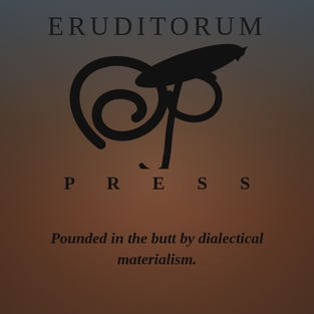ERUDITORUM
[Figure (logo): Eruditorum Press logo: a stylized cursive 'ep' monogram in black, with a sweeping elliptical pen nib shape above and a flourish below]
P R E S S
Pounded in the butt by dialectical materialism.